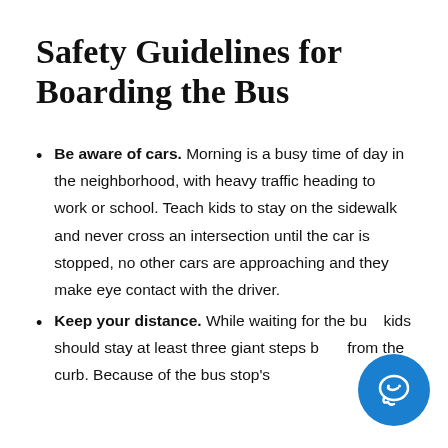Safety Guidelines for Boarding the Bus
Be aware of cars. Morning is a busy time of day in the neighborhood, with heavy traffic heading to work or school. Teach kids to stay on the sidewalk and never cross an intersection until the car is stopped, no other cars are approaching and they make eye contact with the driver.
Keep your distance. While waiting for the bus, kids should stay at least three giant steps back from the curb. Because of the bus stop's